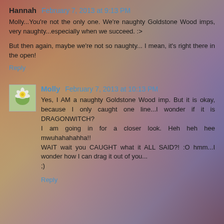Hannah  February 7, 2013 at 9:13 PM
Molly...You're not the only one. We're naughty Goldstone Wood imps, very naughty...especially when we succeed. :>
But then again, maybe we're not so naughty... I mean, it's right there in the open!
Reply
Molly  February 7, 2013 at 10:13 PM
Yes, I AM a naughty Goldstone Wood imp. But it is okay, because I only caught one line...I wonder if it is DRAGONWITCH?
I am going in for a closer look. Heh heh hee mwuhahahahha!!
WAIT wait you CAUGHT what it ALL SAID?! :O hmm...I wonder how I can drag it out of you...
;)
Reply